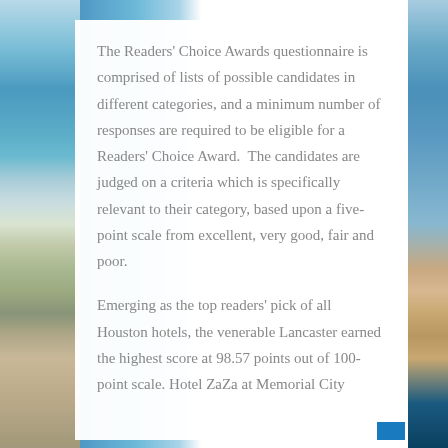The Readers' Choice Awards questionnaire is comprised of lists of possible candidates in different categories, and a minimum number of responses are required to be eligible for a Readers' Choice Award.  The candidates are judged on a criteria which is specifically relevant to their category, based upon a five-point scale from excellent, very good, fair and poor.
Emerging as the top readers' pick of all Houston hotels, the venerable Lancaster earned the highest score at 98.57 points out of 100-point scale. Hotel ZaZa at Memorial City